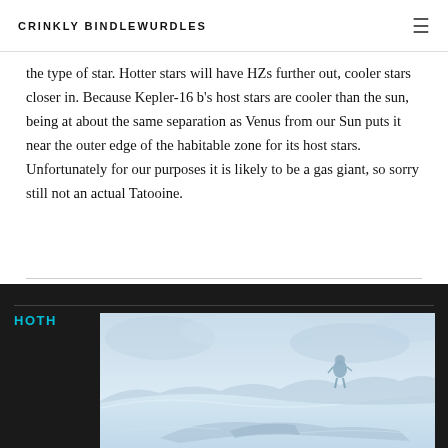CRINKLY BINDLEWURDLES
the type of star. Hotter stars will have HZs further out, cooler stars closer in. Because Kepler-16 b's host stars are cooler than the sun, being at about the same separation as Venus from our Sun puts it near the outer edge of the habitable zone for its host stars. Unfortunately for our purposes it is likely to be a gas giant, so sorry still not an actual Tatooine.
HOTH
[Figure (photo): A snowy, icy landscape scene with a figure (appearing to be a soldier or explorer) in the distance against a pale blue-white sky and snow-covered terrain. Likely a still from Star Wars depicting the ice planet Hoth.]